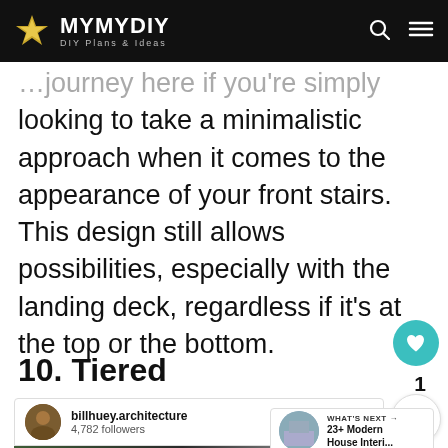MYMYDIY – DIY Plans & Ideas
…journey here if you're simply looking to take a minimalistic approach when it comes to the appearance of your front stairs. This design still allows possibilities, especially with the landing deck, regardless if it's at the top or the bottom.
10. Tiered
billhuey.architecture
4,782 followers